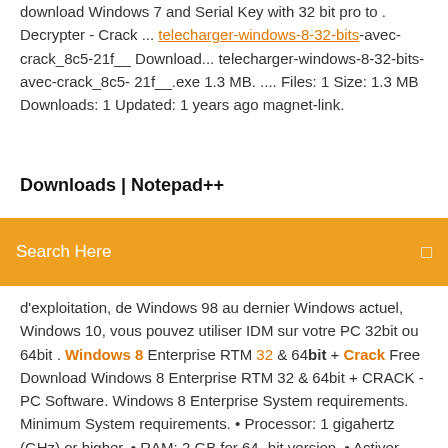download Windows 7 and Serial Key with 32 bit pro to . Decrypter - Crack ... telecharger-windows-8-32-bits-avec-crack_8c5-21f__ Download... telecharger-windows-8-32-bits-avec-crack_8c5-21f__.exe 1.3 MB. .... Files: 1 Size: 1.3 MB Downloads: 1 Updated: 1 years ago magnet-link.
Downloads | Notepad++
[Figure (screenshot): Orange search bar with white text 'Search Here' and a small icon on the right]
d'exploitation, de Windows 98 au dernier Windows actuel, Windows 10, vous pouvez utiliser IDM sur votre PC 32bit ou 64bit . Windows 8 Enterprise RTM 32 & 64bit + Crack Free Download Windows 8 Enterprise RTM 32 & 64bit + CRACK - PC Software. Windows 8 Enterprise System requirements. Minimum System requirements. • Processor: 1 gigahertz (GHz) or higher. • RAM: 2 GB for 64- bit version. • Activer Windows 8.1 gratuitement - activation Windows... Windows 8.1 activation crack.Windows 8.1 est le système d'exploitation de la famille